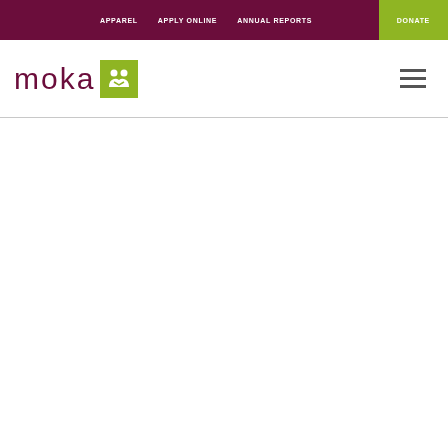APPAREL  APPLY ONLINE  ANNUAL REPORTS  DONATE
[Figure (logo): Moka logo: maroon lowercase text 'moka' followed by a lime-green square with a white stylized M/people icon]